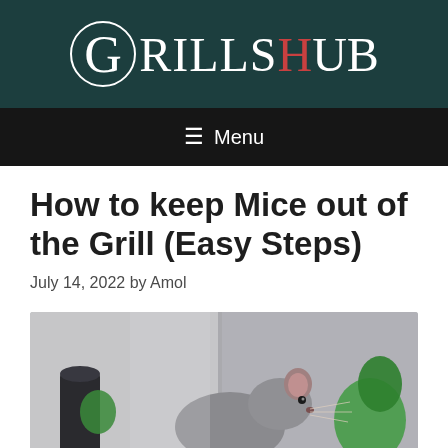GrillsHub
☰ Menu
How to keep Mice out of the Grill (Easy Steps)
July 14, 2022 by Amol
[Figure (photo): A rat or mouse shown close-up near green objects, blurred background, indoor setting]